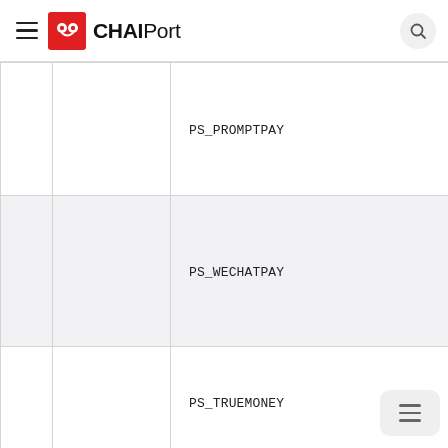CHAIPort
|  |  |  |
| --- | --- | --- |
|  |  | PS_PROMPTPAY |
|  |  | PS_WECHATPAY |
|  |  | PS_TRUEMONEY |